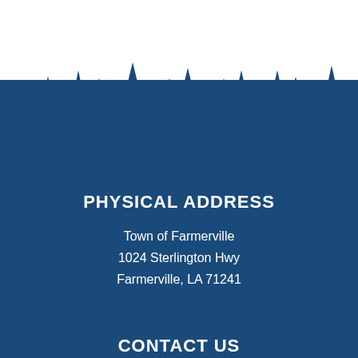[Figure (illustration): Silhouette of a pine/fir tree forest against white background transitioning to dark navy blue background, representing the town of Farmerville's natural landscape]
PHYSICAL ADDRESS
Town of Farmerville
1024 Sterlington Hwy
Farmerville, LA 71241
CONTACT US